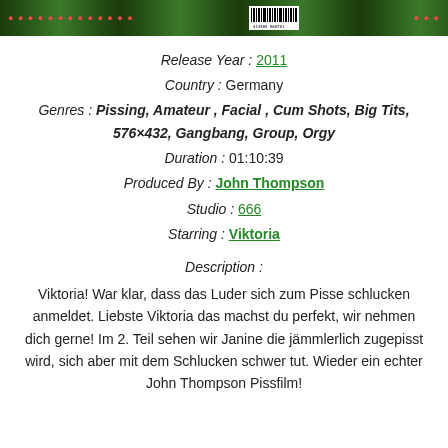[Figure (photo): Green banner/header image with red title text, barcode, and decorative elements]
Release Year : 2011
Country : Germany
Genres : Pissing, Amateur , Facial , Cum Shots, Big Tits, 576×432, Gangbang, Group, Orgy
Duration : 01:10:39
Produced By : John Thompson
Studio : 666
Starring : Viktoria
Description :
Viktoria! War klar, dass das Luder sich zum Pisse schlucken anmeldet. Liebste Viktoria das machst du perfekt, wir nehmen dich gerne! Im 2. Teil sehen wir Janine die jämmlerlich zugepisst wird, sich aber mit dem Schlucken schwer tut. Wieder ein echter John Thompson Pissfilm!